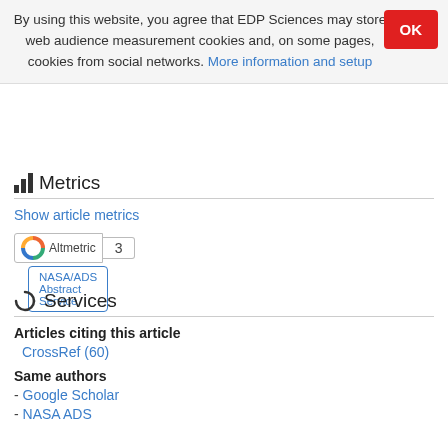By using this website, you agree that EDP Sciences may store web audience measurement cookies and, on some pages, cookies from social networks. More information and setup
NASA/ADS Abstract Service
Metrics
Show article metrics
[Figure (other): Altmetric badge showing score of 3]
Services
Articles citing this article
CrossRef (60)
Same authors
- Google Scholar
- NASA ADS